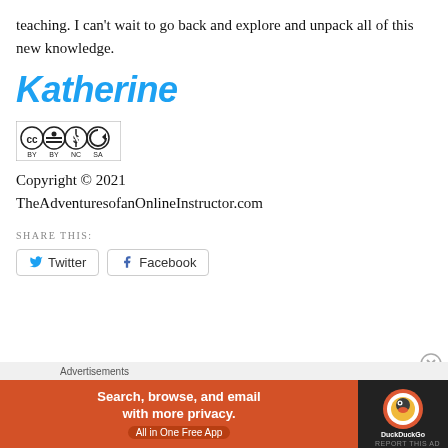teaching. I can't wait to go back and explore and unpack all of this new knowledge.
Katherine
[Figure (logo): Creative Commons CC BY NC SA license badge]
Copyright © 2021 TheAdventuresofanOnlineInstructor.com
SHARE THIS:
[Figure (infographic): Twitter and Facebook share buttons]
[Figure (infographic): DuckDuckGo advertisement banner: Search, browse, and email with more privacy. All in One Free App]